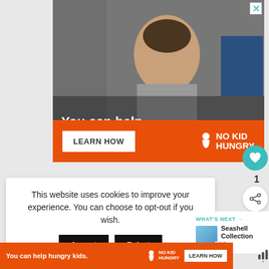[Figure (photo): Advertisement banner showing a young boy eating in a classroom with text overlay 'You can help hungry kids.' and 'NO KID HUNGRY' logo with 'LEARN HOW' button on orange background]
This website uses cookies to improve your experience. You can choose to opt-out if you wish.
Accept
Reject
Read More
WHAT'S NEXT → Seashell Collection Bag
[Figure (photo): Bottom advertisement bar: 'You can help hungry kids.' with NO KID HUNGRY logo and LEARN HOW button on orange background]